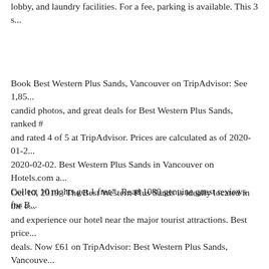lobby, and laundry facilities. For a fee, parking is available. This 3 s...
Book Best Western Plus Sands, Vancouver on TripAdvisor: See 1,85... candid photos, and great deals for Best Western Plus Sands, ranked # and rated 4 of 5 at TripAdvisor. Prices are calculated as of 2020-01-2... 2020-02-02. Best Western Plus Sands in Vancouver on Hotels.com a... Collect 10 nights get 1 free*. Read 1080 genuine guest reviews for B...
Oct 10, 2019 · The Best Western Plus Sands is ideally located in the ... and experience our hotel near the major tourist attractions. Best price... deals. Now £61 on TripAdvisor: Best Western Plus Sands, Vancouve... reviews, 625 candid photos, and great deals for Best Western Plus Sa... in Vancouver and rated 4 of 5 at TripAdvisor. Prices are calculated as... check-in date of 09/02/2020.
If you like the diversity of Vancouver's West End, then consider the B... Located across from English Bay, it is within walking distance of Sta... Robson Street, Downtown and other attractions. The common areas ... but the rooms are modern and well appointed. The eco-friendly Best ... features tour/ticket assistance, complimentary newspapers in the lobb...